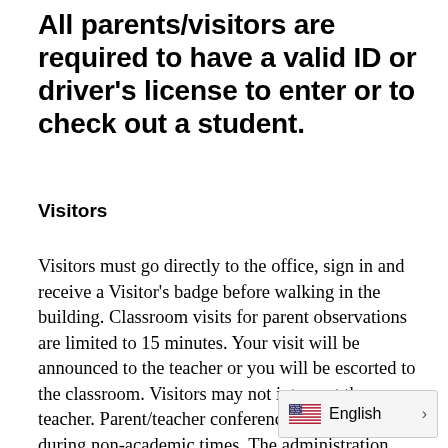All parents/visitors are required to have a valid ID or driver's license to enter or to check out a student.
Visitors
Visitors must go directly to the office, sign in and receive a Visitor's badge before walking in the building. Classroom visits for parent observations are limited to 15 minutes. Your visit will be announced to the teacher or you will be escorted to the classroom. Visitors may not interrupt the teacher. Parent/teacher conferences are scheduled during non-academic times. The administration reserves the right to limit classroom visits. Any other needs can be addressed by office personnel. We will relay information and forgotten items without disturbing the learning e… Your cooperation is greatly appre…